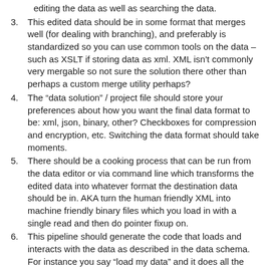editing the data as well as searching the data.
3. This edited data should be in some format that merges well (for dealing with branching), and preferably is standardized so you can use common tools on the data – such as XSLT if storing data as xml. XML isn't commonly very mergable so not sure the solution there other than perhaps a custom merge utility perhaps?
4. The “data solution” / project file should store your preferences about how you want the final data format to be: xml, json, binary, other? Checkboxes for compression and encryption, etc. Switching the data format should take moments.
5. There should be a cooking process that can be run from the data editor or via command line which transforms the edited data into whatever format the destination data should be in. AKA turn the human friendly XML into machine friendly binary files which you load in with a single read and then do pointer fixup on.
6. This pipeline should generate the code that loads and interacts with the data as described in the data schema. For instance you say “load my data” and it does all the